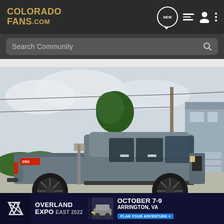ColoradoFans.com — navigation header with NEW, list, person, and dots icons
Search Community
[Figure (photo): Side profile of a grey Chevrolet Colorado pickup truck parked in a residential driveway. The truck has black aftermarket wheels and tinted windows. Background shows a tree, utility poles, and a grey house with an open garage.]
[Figure (infographic): Advertisement banner for Overland Expo East 2022, October 7-9, Arrington, VA. Includes an X logo, event name, dates, location and a 'Plan Your Adventure' button.]